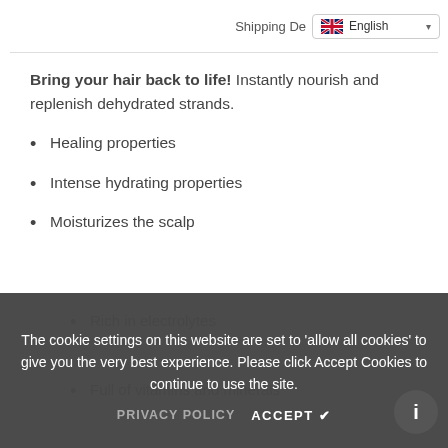Shipping De... English
Bring your hair back to life! Instantly nourish and replenish dehydrated strands.
Healing properties
Intense hydrating properties
Moisturizes the scalp
Rich in electrolytes
Full of vitamins and minerals
No sulfates
No mineral oil - No Dyes
The cookie settings on this website are set to 'allow all cookies' to give you the very best experience. Please click Accept Cookies to continue to use the site.
PRIVACY POLICY   ACCEPT ✔